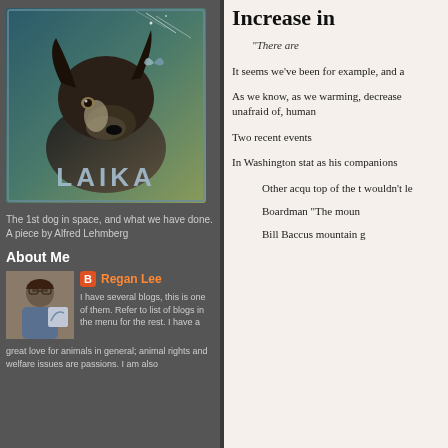[Figure (illustration): Laika the dog in space - vintage style illustration with 'LAIKA' text below, teal/blue space background with dog portrait]
The 1st dog in space, and what we have done. A piece by Alfred Lehmberg
About Me
[Figure (photo): Profile photo of Regan Lee, woman with glasses]
Regan Lee
I have several blogs, this is one of them. Refer to list of blogs in the menu for the rest. I have a great love for animals in general; animal rights and welfare issues are passions. I am also
Increase in
"There are
It seems we've been for example, and a
As we know, as we warming, decrease unafraid of, human
Two recent events
In Washington stat as his companions
Other acqu top of the t wouldn't le
Boardman "The moun
Bill Baccus mountain g